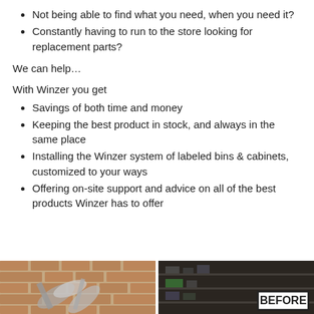Not being able to find what you need, when you need it?
Constantly having to run to the store looking for replacement parts?
We can help…
With Winzer you get
Savings of both time and money
Keeping the best product in stock, and always in the same place
Installing the Winzer system of labeled bins & cabinets, customized to your ways
Offering on-site support and advice on all of the best products Winzer has to offer
[Figure (photo): Two photos side by side: left shows metal tools/parts against a brick wall background; right shows a dark cabinet/storage area with a 'BEFORE' label in white box with black border]